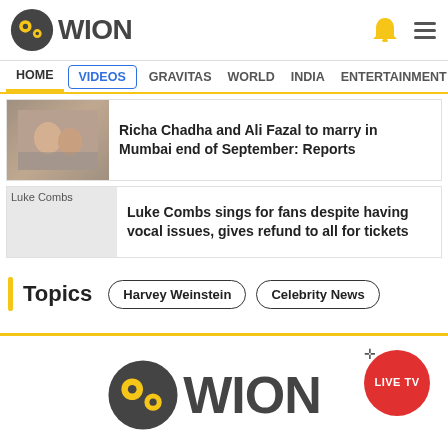[Figure (logo): WION logo with circular icon (dark gray with yellow circles) and WION text]
HOME | VIDEOS | GRAVITAS | WORLD | INDIA | ENTERTAINMENT | SPORTS
Richa Chadha and Ali Fazal to marry in Mumbai end of September: Reports
Luke Combs sings for fans despite having vocal issues, gives refund to all for tickets
Topics
Harvey Weinstein | Celebrity News
[Figure (logo): WION footer logo with LIVE TV button]